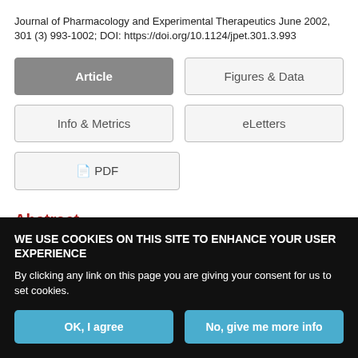Journal of Pharmacology and Experimental Therapeutics June 2002, 301 (3) 993-1002; DOI: https://doi.org/10.1124/jpet.301.3.993
[Figure (screenshot): Navigation buttons: Article (active/gray), Figures & Data, Info & Metrics, eLetters, PDF]
Abstract
WE USE COOKIES ON THIS SITE TO ENHANCE YOUR USER EXPERIENCE
By clicking any link on this page you are giving your consent for us to set cookies.
OK, I agree | No, give me more info